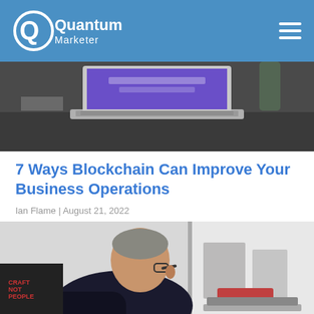Quantum Marketer
[Figure (photo): Laptop computer on a dark desk with a purple screen, viewed from the side]
7 Ways Blockchain Can Improve Your Business Operations
Ian Flame | August 21, 2022
[Figure (photo): Man with glasses viewed from behind, sitting at a laptop in a bright office environment]